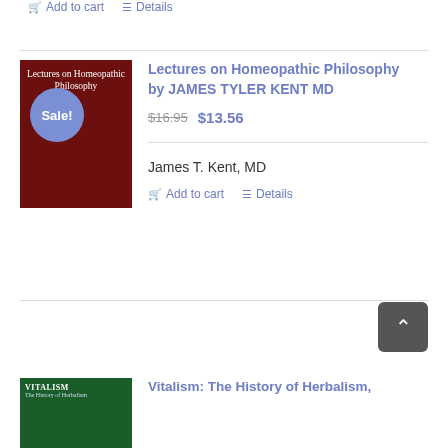Add to cart   Details
[Figure (illustration): Book cover for Lectures on Homeopathic Philosophy with a 'Sale!' badge overlay. Dark red/maroon cover with white text reading 'Lectures on Homeopathic Philosophy'. Blue circular Sale! badge overlaid.]
Lectures on Homeopathic Philosophy by JAMES TYLER KENT MD
$16.95  $13.56
James T. Kent, MD
Add to cart   Details
[Figure (illustration): Book cover for Vitalism: The History of Herbalism. Dark green cover with white bold text reading 'VITALISM' and subtitle text below.]
Vitalism: The History of Herbalism,